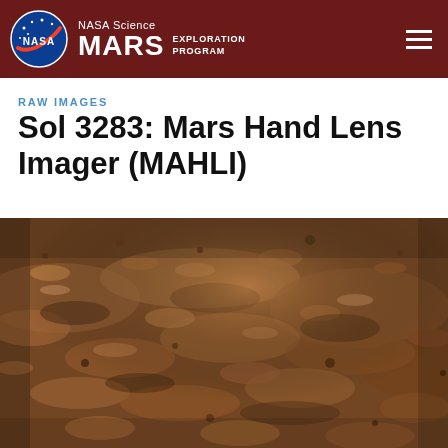NASA Science MARS EXPLORATION PROGRAM
RAW IMAGES
Sol 3283: Mars Hand Lens Imager (MAHLI)
[Figure (photo): Close-up photograph of the Martian surface showing rocky, dusty reddish-brown terrain with textured surface details, taken by the MAHLI instrument on Sol 3283.]